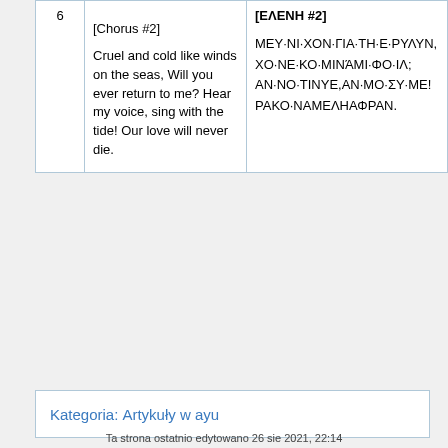|  | English | Greek |
| --- | --- | --- |
| 6 | [Chorus #2]

Cruel and cold like winds on the seas, Will you ever return to me? Hear my voice, sing with the tide! Our love will never die. | [ΕΛΕΝΗ #2]

ΜΕΥ·ΝΙ·ΧΟΝ·ΓΙΑ·ΤΗ·Ε·ΡΥΛΥΝ, ΧΟ·ΝΕ·ΚΟ·ΜΙΝΆΜΙ·ΦΟ·ΙΛ; ΑΝ·ΝΟ·ΤΙΝΥΕ,ΑΝ·ΜΟ·ΣΥ·ΜΕ! ΡΑΚΟ·ΝΑΜΕΛΗΑΦΡΑΝ. |
Kategoria:  Artykuły w ayu
Ta strona ostatnio edytowano 26 sie 2021, 22:14